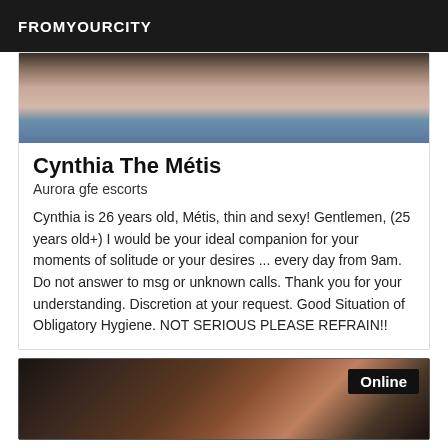FROMYOURCITY
[Figure (photo): Photo showing feet/legs against a blue surface]
Cynthia The Métis
Aurora gfe escorts
Cynthia is 26 years old, Métis, thin and sexy! Gentlemen, (25 years old+) I would be your ideal companion for your moments of solitude or your desires ... every day from 9am. Do not answer to msg or unknown calls. Thank you for your understanding. Discretion at your request. Good Situation of Obligatory Hygiene. NOT SERIOUS PLEASE REFRAIN!!
[Figure (photo): Photo of a person with an Online badge overlay]